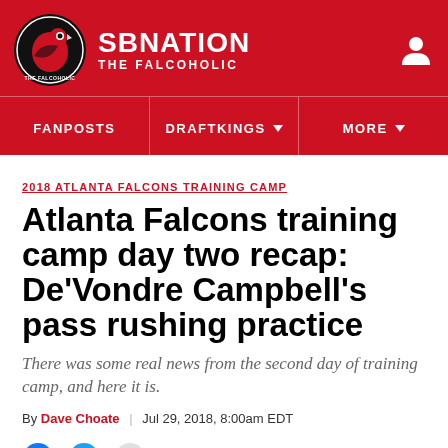SBNATION THE FALCOHOLIC
2018 ATLANTA FALCONS TRAINING CAMP
Atlanta Falcons training camp day two recap: De'Vondre Campbell's pass rushing practice
There was some real news from the second day of training camp, and here it is.
By Dave Choate | Jul 29, 2018, 8:00am EDT